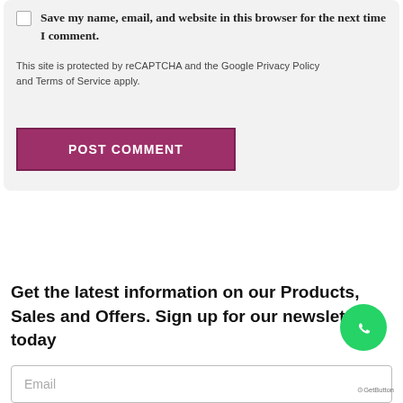Save my name, email, and website in this browser for the next time I comment.
This site is protected by reCAPTCHA and the Google Privacy Policy and Terms of Service apply.
POST COMMENT
Get the latest information on our Products, Sales and Offers. Sign up for our newsletter today
Email